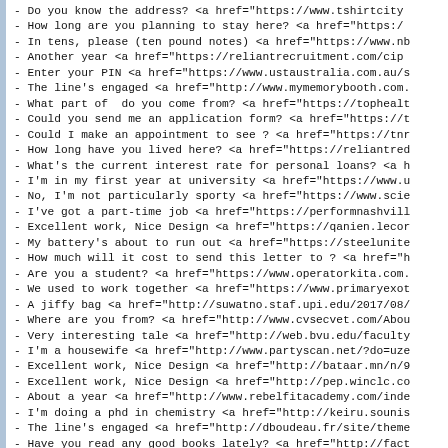- Do you know the address? <a href="https://www.tshirtcity...
- How long are you planning to stay here? <a href="https:/...
- In tens, please (ten pound notes) <a href="https://www.nb...
- Another year <a href="https://reliantrecruitment.com/cip...
- Enter your PIN <a href="https://www.ustaustralia.com.au/s...
- The line's engaged <a href="http://www.mymemorybooth.com...
- What part of  do you come from? <a href="https://tophealt...
- Could you send me an application form? <a href="https://t...
- Could I make an appointment to see ? <a href="https://tnr...
- How long have you lived here? <a href="https://reliantred...
- What's the current interest rate for personal loans? <a h...
- I'm in my first year at university <a href="https://www.u...
- No, I'm not particularly sporty <a href="https://www.scie...
- I've got a part-time job <a href="https://performnashvill...
- Excellent work, Nice Design <a href="https://qanien.lecor...
- My battery's about to run out <a href="https://steelunite...
- How much will it cost to send this letter to ? <a href="h...
- Are you a student? <a href="https://www.operatorkita.com...
- We used to work together <a href="https://www.primaryexot...
- A jiffy bag <a href="http://suwatno.staf.upi.edu/2017/08...
- Where are you from? <a href="http://www.cvsecvet.com/Abou...
- Very interesting tale <a href="http://web.bvu.edu/faculty...
- I'm a housewife <a href="http://www.partyscan.net/?do=uze...
- Excellent work, Nice Design <a href="http://bataar.mn/n/9...
- Excellent work, Nice Design <a href="http://pep.winclc.co...
- About a year <a href="http://www.rebelfitacademy.com/inde...
- I'm doing a phd in chemistry <a href="http://keiru.sounis...
- The line's engaged <a href="http://dboudeau.fr/site/theme...
- Have you read any good books lately? <a href="http://fact...
- Did I like to the right, do fall <https://...